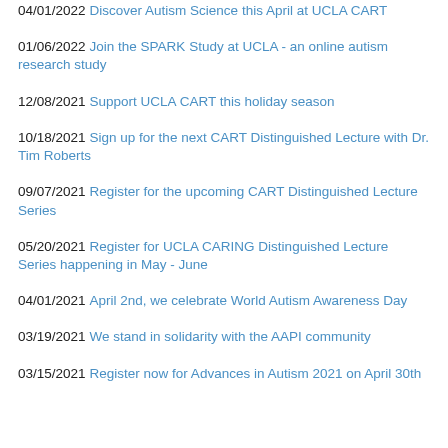04/01/2022 Discover Autism Science this April at UCLA CART
01/06/2022 Join the SPARK Study at UCLA - an online autism research study
12/08/2021 Support UCLA CART this holiday season
10/18/2021 Sign up for the next CART Distinguished Lecture with Dr. Tim Roberts
09/07/2021 Register for the upcoming CART Distinguished Lecture Series
05/20/2021 Register for UCLA CARING Distinguished Lecture Series happening in May - June
04/01/2021 April 2nd, we celebrate World Autism Awareness Day
03/19/2021 We stand in solidarity with the AAPI community
03/15/2021 Register now for Advances in Autism 2021 on April 30th